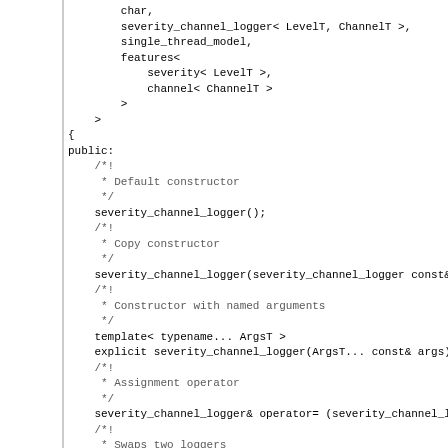Code snippet showing severity_channel_logger class definition with constructors and related documentation comments.